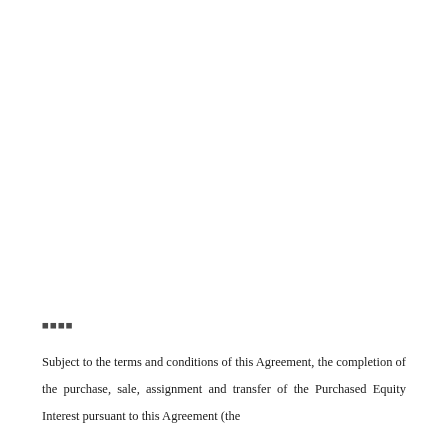▪▪▪▪
Subject to the terms and conditions of this Agreement, the completion of the purchase, sale, assignment and transfer of the Purchased Equity Interest pursuant to this Agreement (the